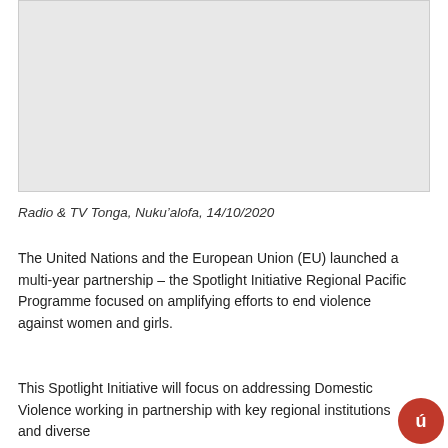[Figure (photo): Large image placeholder area at the top of the page, light gray background with border]
Radio & TV Tonga, Nuku’alofa, 14/10/2020
The United Nations and the European Union (EU) launched a multi-year partnership – the Spotlight Initiative Regional Pacific Programme focused on amplifying efforts to end violence against women and girls.
This Spotlight Initiative will focus on addressing Domestic Violence working in partnership with key regional institutions and diverse
[Figure (logo): Small circular logo in the bottom right corner, red/orange tones with letter styling]